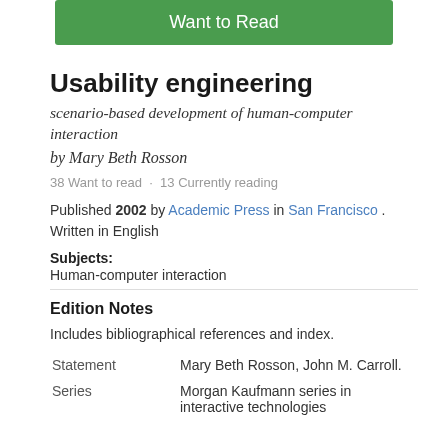Want to Read
Usability engineering
scenario-based development of human-computer interaction
by Mary Beth Rosson
38 Want to read  ·  13 Currently reading
Published 2002 by Academic Press in San Francisco . Written in English
Subjects:
Human-computer interaction
Edition Notes
Includes bibliographical references and index.
|  |  |
| --- | --- |
| Statement | Mary Beth Rosson, John M. Carroll. |
| Series | Morgan Kaufmann series in interactive technologies |